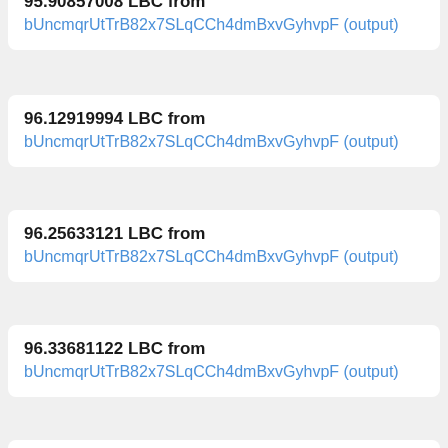95.90857008 LBC from bUncmqrUtTrB82x7SLqCCh4dmBxvGyhvpF (output)
96.12919994 LBC from bUncmqrUtTrB82x7SLqCCh4dmBxvGyhvpF (output)
96.25633121 LBC from bUncmqrUtTrB82x7SLqCCh4dmBxvGyhvpF (output)
96.33681122 LBC from bUncmqrUtTrB82x7SLqCCh4dmBxvGyhvpF (output)
96.42725779 LBC from bc1GFhkjy7rX4rTGNYdjhD5ubtg32wqSyv (output)